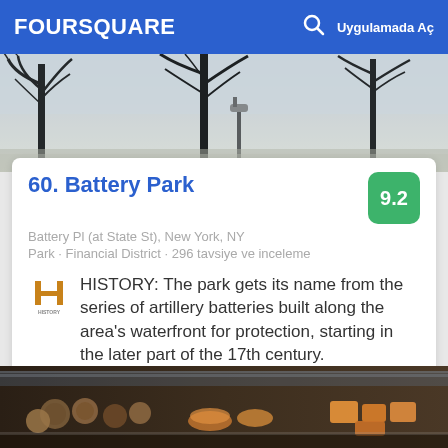FOURSQUARE   Uygulamada Aç
[Figure (photo): Black and white photo of bare winter trees in a park]
60. Battery Park
9.2
Battery Pl (at State St), New York, NY
Park · Financial District · 296 tavsiye ve inceleme
HISTORY: The park gets its name from the series of artillery batteries built along the area's waterfront for protection, starting in the later part of the 17th century.
[Figure (photo): Photo of food items in a display case including pastries and other items]